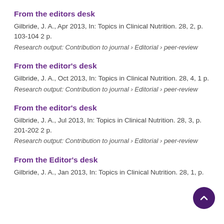From the editors desk
Gilbride, J. A., Apr 2013, In: Topics in Clinical Nutrition. 28, 2, p. 103-104 2 p.
Research output: Contribution to journal › Editorial › peer-review
From the editor's desk
Gilbride, J. A., Oct 2013, In: Topics in Clinical Nutrition. 28, 4, 1 p.
Research output: Contribution to journal › Editorial › peer-review
From the editor's desk
Gilbride, J. A., Jul 2013, In: Topics in Clinical Nutrition. 28, 3, p. 201-202 2 p.
Research output: Contribution to journal › Editorial › peer-review
From the Editor's desk
Gilbride, J. A., Jan 2013, In: Topics in Clinical Nutrition. 28, 1, p. 1-2 2 p.